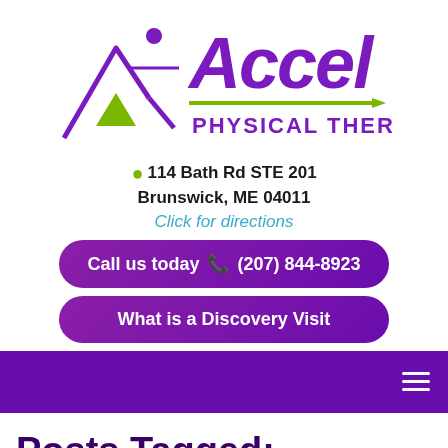[Figure (logo): Accel Physical Therapy logo with purple mountain/person icon and green triangle, purple stylized text 'Accel' and purple bold 'PHYSICAL THERAPY' with green arrow]
📍114 Bath Rd STE 201
Brunswick, ME 04011
Click for directions
Call us today 📞 (207) 844-8923
What is a Discovery Visit
Posts Tagged: physical